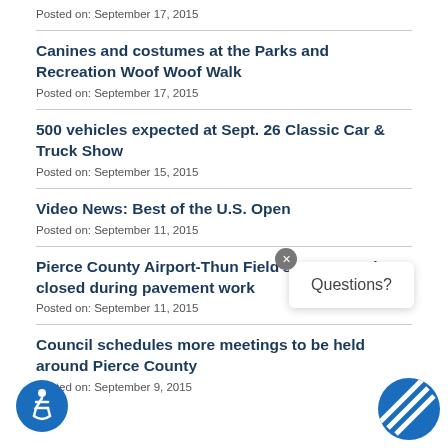Posted on: September 17, 2015
Canines and costumes at the Parks and Recreation Woof Woof Walk
Posted on: September 17, 2015
500 vehicles expected at Sept. 26 Classic Car & Truck Show
Posted on: September 15, 2015
Video News: Best of the U.S. Open
Posted on: September 11, 2015
Pierce County Airport-Thun Field’s runway to be closed during pavement work
Posted on: September 11, 2015
Council schedules more meetings to be held around Pierce County
Posted on: September 9, 2015
[Figure (infographic): Questions? popup with close button and accessibility icon and Pierce County logo]